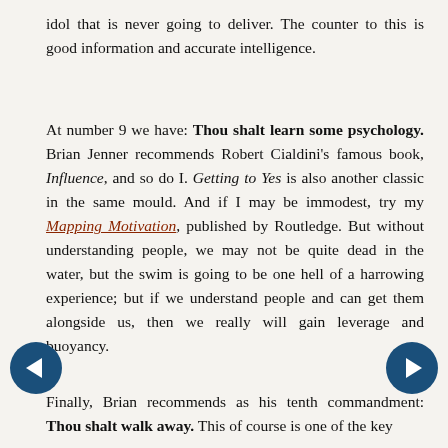idol that is never going to deliver. The counter to this is good information and accurate intelligence.
At number 9 we have: Thou shalt learn some psychology. Brian Jenner recommends Robert Cialdini's famous book, Influence, and so do I. Getting to Yes is also another classic in the same mould. And if I may be immodest, try my Mapping Motivation, published by Routledge. But without understanding people, we may not be quite dead in the water, but the swim is going to be one hell of a harrowing experience; but if we understand people and can get them alongside us, then we really will gain leverage and buoyancy.
Finally, Brian recommends as his tenth commandment: Thou shalt walk away. This of course is one of the key